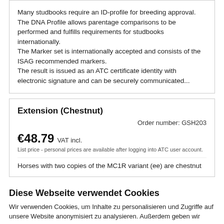Many studbooks require an ID-profile for breeding approval. The DNA Profile allows parentage comparisons to be performed and fulfills requirements for studbooks internationally.
The Marker set is internationally accepted and consists of the ISAG recommended markers.
The result is issued as an ATC certificate identity with electronic signature and can be securely communicated...
Extension (Chestnut)
Order number: GSH203
€48.79 VAT incl.
List price - personal prices are available after logging into ATC user account.
Horses with two copies of the MC1R variant (ee) are chestnut
Diese Webseite verwendet Cookies
Wir verwenden Cookies, um Inhalte zu personalisieren und Zugriffe auf unsere Website anonymisiert zu analysieren. Außerdem geben wir Informationen zu Ihrer Verwendung unserer Website an unsere Partner für Analysen weiter. Unsere Partner führen diese Informationen möglicherweise mit weiteren Daten zusammen, die Sie ihnen bereitgestellt haben oder die sie im Rahmen Ihrer Nutzung der Dienste gesammelt haben.
Impressum   Datenschutzerklärung